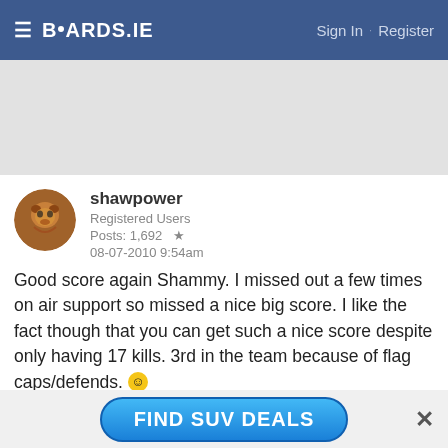BOARDS.IE  Sign In · Register
[Figure (other): Gray advertisement banner area]
shawpower
Registered Users
Posts: 1,692 ★
08-07-2010 9:54am
Good score again Shammy. I missed out a few times on air support so missed a nice big score. I like the fact though that you can get such a nice score despite only having 17 kills. 3rd in the team because of flag caps/defends. 🙂
[Figure (other): Blue button advertisement: FIND SUV DEALS with close X button]